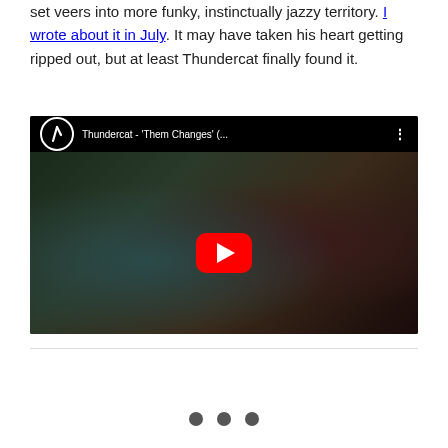set veers into more funky, instinctually jazzy territory. I wrote about it in July. It may have taken his heart getting ripped out, but at least Thundercat finally found it.
[Figure (screenshot): Embedded YouTube video player showing Thundercat - 'Them Changes' (... with a dark video thumbnail featuring armored figures, YouTube play button overlay, channel logo circle with lightning bolt, and three-dot menu icon.]
[Figure (other): Three navigation dots (pagination indicators) at the bottom of the page.]